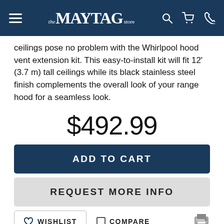the MAYTAG store
ceilings pose no problem with the Whirlpool hood vent extension kit. This easy-to-install kit will fit 12' (3.7 m) tall ceilings while its black stainless steel finish complements the overall look of your range hood for a seamless look.
$492.99
ADD TO CART
REQUEST MORE INFO
WISHLIST
COMPARE